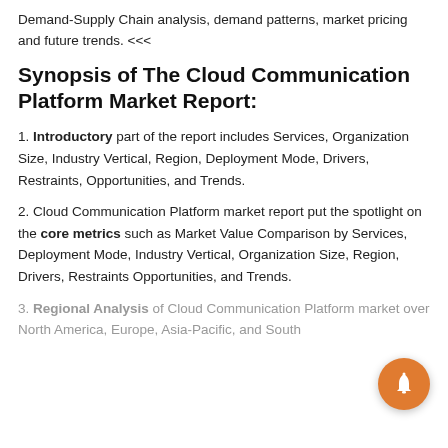Demand-Supply Chain analysis, demand patterns, market pricing and future trends. <<<
Synopsis of The Cloud Communication Platform Market Report:
1. Introductory part of the report includes Services, Organization Size, Industry Vertical, Region, Deployment Mode, Drivers, Restraints, Opportunities, and Trends.
2. Cloud Communication Platform market report put the spotlight on the core metrics such as Market Value Comparison by Services, Deployment Mode, Industry Vertical, Organization Size, Region, Drivers, Restraints Opportunities, and Trends.
3. Regional Analysis of Cloud Communication Platform market over North America, Europe, Asia-Pacific, and South